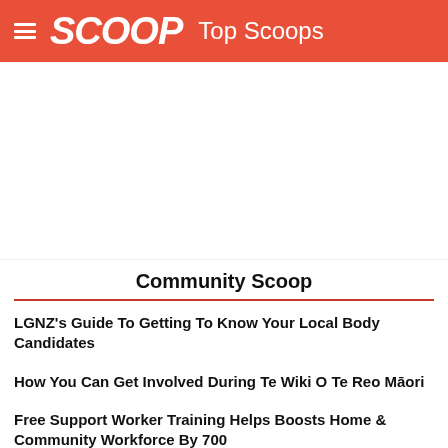SCOOP Top Scoops
[Figure (other): Advertisement/blank white area]
Community Scoop
LGNZ's Guide To Getting To Know Your Local Body Candidates
How You Can Get Involved During Te Wiki O Te Reo Māori
Free Support Worker Training Helps Boosts Home & Community Workforce By 700
Community Awards – Nominations Open
Auckland Rates Up 17% Under Goff, Staff Costs Out Of Control
STEM Programme For Māori Learners Wins National Diversity Award